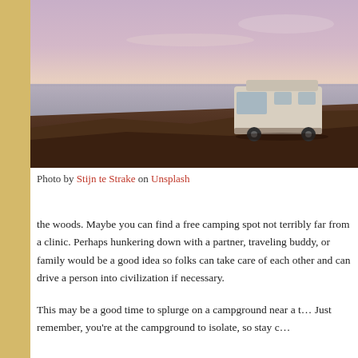[Figure (photo): A motorhome/campervan parked on a rocky cliff overlooking the ocean at dusk or dawn, with a purple-pink sky and calm sea in the background.]
Photo by Stijn te Strake on Unsplash
the woods. Maybe you can find a free camping spot not terribly far from a clinic. Perhaps hunkering down with a partner, traveling buddy, or family would be a good idea so folks can take care of each other and can drive a person into civilization if necessary.
This may be a good time to splurge on a campground near a t… Just remember, you're at the campground to isolate, so stay c…